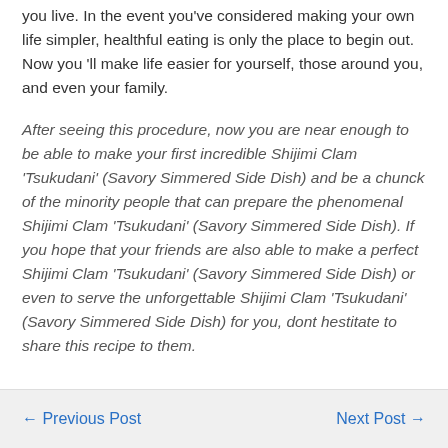you live. In the event you've considered making your own life simpler, healthful eating is only the place to begin out. Now you 'll make life easier for yourself, those around you, and even your family.
After seeing this procedure, now you are near enough to be able to make your first incredible Shijimi Clam 'Tsukudani' (Savory Simmered Side Dish) and be a chunck of the minority people that can prepare the phenomenal Shijimi Clam 'Tsukudani' (Savory Simmered Side Dish). If you hope that your friends are also able to make a perfect Shijimi Clam 'Tsukudani' (Savory Simmered Side Dish) or even to serve the unforgettable Shijimi Clam 'Tsukudani' (Savory Simmered Side Dish) for you, dont hestitate to share this recipe to them.
← Previous Post    Next Post →